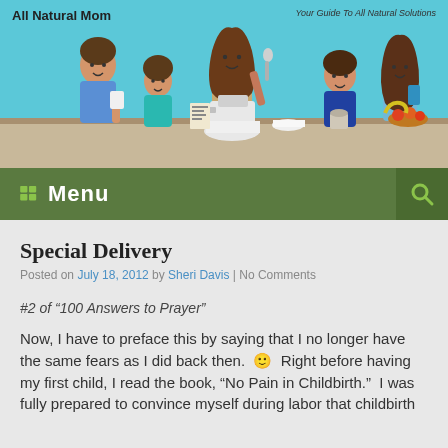[Figure (illustration): Blog header banner for 'All Natural Mom' with illustrated family around a kitchen counter. Mother in center holding a spoon by a mixer, flanked by children. Text: 'All Natural Mom' on left, 'Your Guide To All Natural Solutions' on right.]
Menu
Special Delivery
Posted on July 18, 2012 by Sheri Davis | No Comments
#2 of  “100 Answers to Prayer”
Now, I have to preface this by saying that I no longer have the same fears as I did back then.  🙂  Right before having my first child, I read the book, “No Pain in Childbirth.”  I was fully prepared to convince myself during labor that childbirth